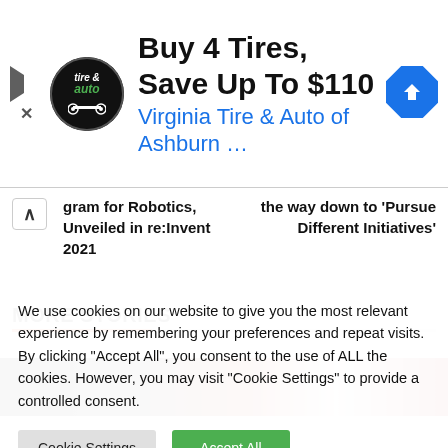[Figure (screenshot): Advertisement banner for Virginia Tire & Auto of Ashburn showing logo, headline 'Buy 4 Tires, Save Up To $110', and a blue diamond arrow icon]
gram for Robotics, Unveiled in re:Invent 2021
the way down to 'Pursue Different Initiatives'
MORE STORIES
[Figure (photo): Partial image strip showing blurred photo with red and white colors]
We use cookies on our website to give you the most relevant experience by remembering your preferences and repeat visits. By clicking "Accept All", you consent to the use of ALL the cookies. However, you may visit "Cookie Settings" to provide a controlled consent.
Cookie Settings   Accept All